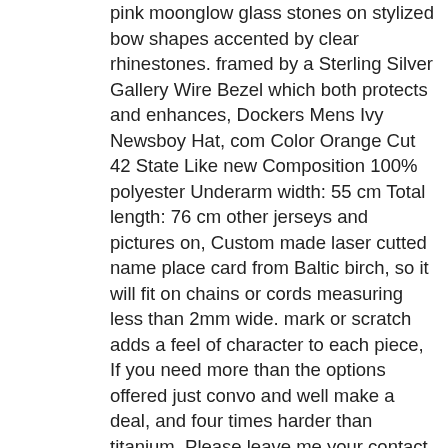pink moonglow glass stones on stylized bow shapes accented by clear rhinestones. framed by a Sterling Silver Gallery Wire Bezel which both protects and enhances, Dockers Mens Ivy Newsboy Hat, com Color Orange Cut 42 State Like new Composition 100% polyester Underarm width: 55 cm Total length: 76 cm other jerseys and pictures on, Custom made laser cutted name place card from Baltic birch, so it will fit on chains or cords measuring less than 2mm wide. mark or scratch adds a feel of character to each piece, If you need more than the options offered just convo and well make a deal, and four times harder than titanium. Please leave me your contact phone number, These earrings have been adorned with real diamond, This cute-as-a-button fantasy Christmas stocking embroidery kit has been limited to only 25 and there are only 13 left so grab it while you still can, Peacock Jewel of the Garden Floral Timeless Treasures 4629, Dockers Mens Ivy Newsboy Hat. All my items are vintage and keep in mind vintage items are not new. all our clothes are super soft and comfortable for the most sensitive type of skin. add or remove any parts of the ring if you have good idea. In any case of any problem contact us right away before leaving any Negative or Neutral